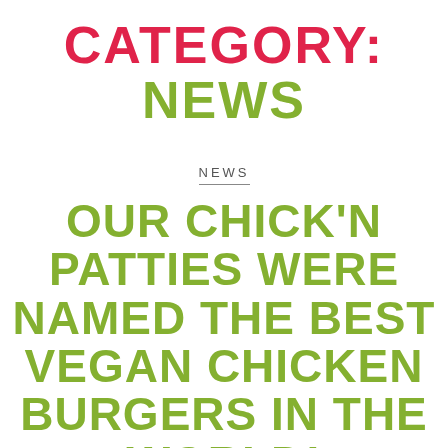CATEGORY:
NEWS
NEWS
OUR CHICK'N PATTIES WERE NAMED THE BEST VEGAN CHICKEN BURGERS IN THE WORLD!